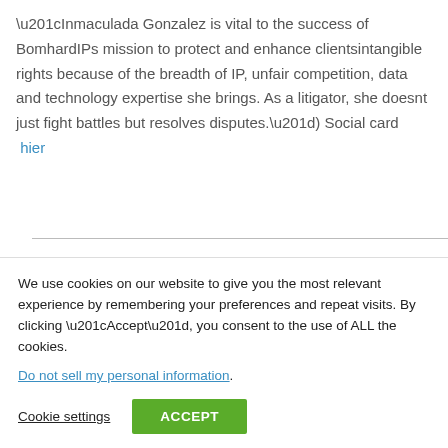“Inmaculada Gonzalez is vital to the success of BomhardIPs mission to protect and enhance clientsintangible rights because of the breadth of IP, unfair competition, data and technology expertise she brings. As a litigator, she doesnt just fight battles but resolves disputes.”) Social card  hier
2019 WTR 1000 (Bronze Ranking; “She has a comprehensive knowledge of trademark,
We use cookies on our website to give you the most relevant experience by remembering your preferences and repeat visits. By clicking “Accept”, you consent to the use of ALL the cookies.
Do not sell my personal information.